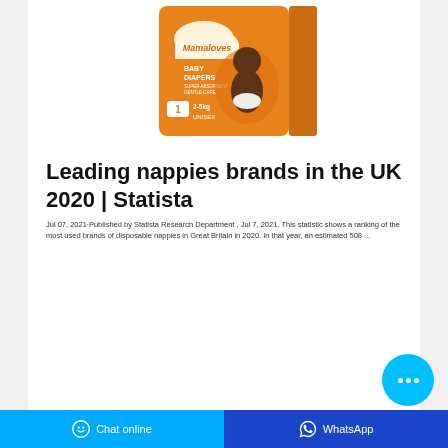[Figure (photo): Product photo of Mamaloves Baby Diapers orange box, size 1, 2-5kg, Unisex]
Leading nappies brands in the UK 2020 | Statista
Jul 07, 2021·Published by Statista Research Department , Jul 7, 2021. This statistic shows a ranking of the most used brands of disposable nappies in Great Britain in 2020. In that year, an estimated 508 ...
[Figure (other): Floating chat bubble button with three dots]
Chat online   WhatsApp